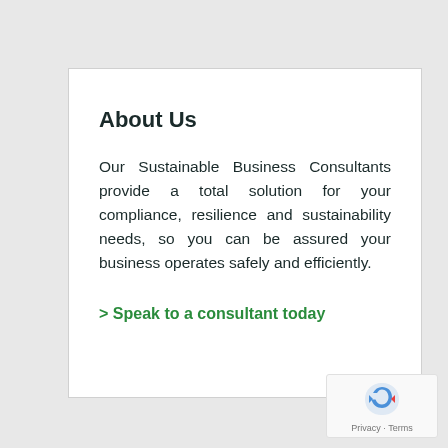About Us
Our Sustainable Business Consultants provide a total solution for your compliance, resilience and sustainability needs, so you can be assured your business operates safely and efficiently.
> Speak to a consultant today
[Figure (logo): reCAPTCHA badge with Google logo and Privacy/Terms links]